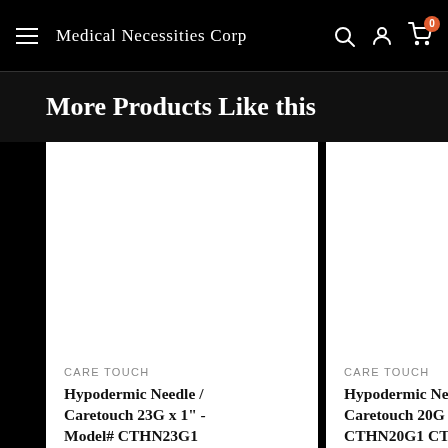Medical Necessities Corp
More Products Like this
CARE TOUCH
Hypodermic Needle / Caretouch 23G x 1" - Model# CTHN23G1
CARE TOUCH
Hypodermic Needle / Caretouch 20G x - CTHN20G1 CT...